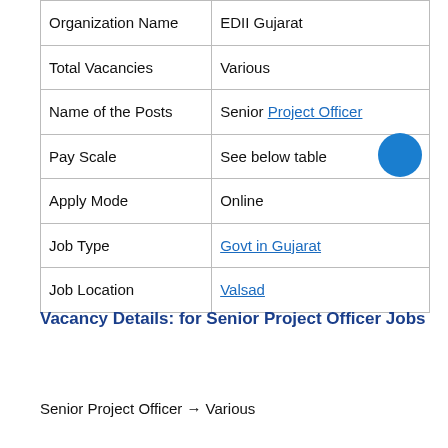| Organization Name | EDII Gujarat |
| Total Vacancies | Various |
| Name of the Posts | Senior Project Officer |
| Pay Scale | See below table |
| Apply Mode | Online |
| Job Type | Govt in Gujarat |
| Job Location | Valsad |
Vacancy Details: for Senior Project Officer Jobs
Senior Project Officer → Various